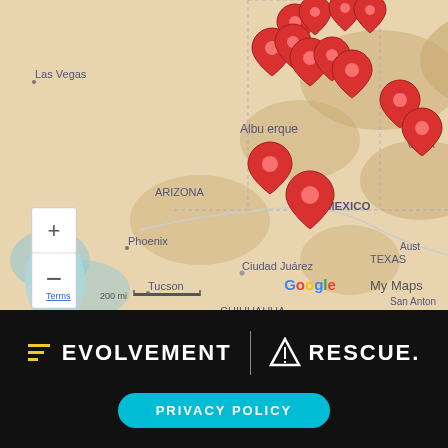[Figure (map): Google My Maps screenshot showing the southwestern United States including New Mexico, Arizona, Texas, parts of Mexico. Multiple red map pin markers are clustered around the Albuquerque, New Mexico area with some pins further south. Geographic labels include Las Vegas, Phoenix, Tucson, Albuquerque, Ciudad Juárez, ARIZONA, NEW MEXICO, TEXAS, BAJA CALIFORNIA, SONORA, CHIHUAHUA, COAHUILA, OKLA, Aust, San Anton. Map controls (+/-) visible lower left, scale bar showing 200 mi, Google My Maps branding, and Terms link.]
[Figure (logo): Evolvement logo with yellow horizontal lines (decreasing width, 3 lines) and white bold uppercase text EVOLVEMENT, followed by a vertical divider line, then a triangle/mountain icon and white bold uppercase text RESCUE. with period.]
PRIVACY POLICY